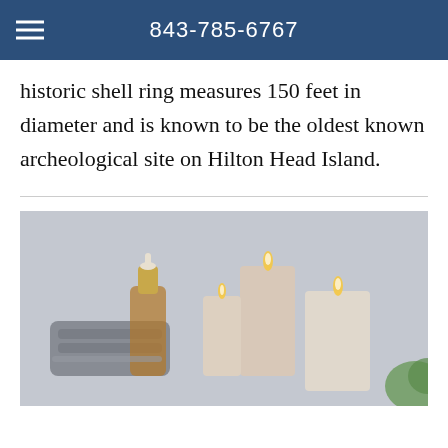843-785-6767
historic shell ring measures 150 feet in diameter and is known to be the oldest known archeological site on Hilton Head Island.
[Figure (photo): Spa-themed photo showing a glass dropper bottle with gold cap, folded gray towels, and several lit pillar candles against a soft gray background, with a green plant visible at the edge.]